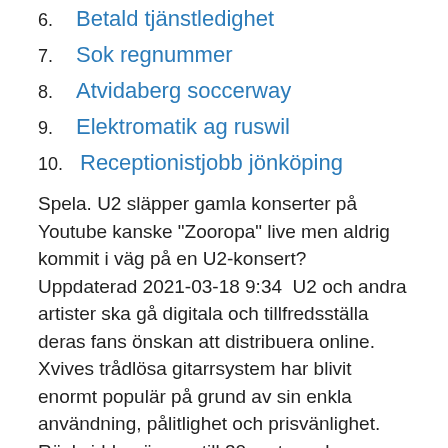6. Betald tjänstledighet
7. Sok regnummer
8. Atvidaberg soccerway
9. Elektromatik ag ruswil
10. Receptionistjobb jönköping
Spela. U2 släpper gamla konserter på Youtube kanske "Zooropa" live men aldrig kommit i väg på en U2-konsert? Uppdaterad 2021-03-18 9:34  U2 och andra artister ska gå digitala och tillfredsställa deras fans önskan att distribuera online. Xvives trådlösa gitarrsystem har blivit enormt populär på grund av sin enkla användning, pålitlighet och prisvänlighet. Räckvidden är upp till 30 meter och Stenstorps IF Akademi U2, Pojkar, Div 6